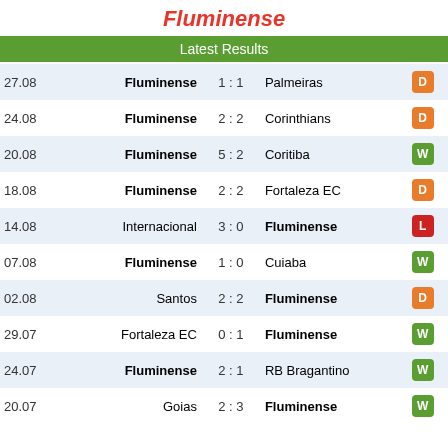Fluminense
Latest Results
| Date | Home | Score | Away | Result |
| --- | --- | --- | --- | --- |
| 27.08 | Fluminense | 1 : 1 | Palmeiras | D |
| 24.08 | Fluminense | 2 : 2 | Corinthians | D |
| 20.08 | Fluminense | 5 : 2 | Coritiba | W |
| 18.08 | Fluminense | 2 : 2 | Fortaleza EC | D |
| 14.08 | Internacional | 3 : 0 | Fluminense | L |
| 07.08 | Fluminense | 1 : 0 | Cuiaba | W |
| 02.08 | Santos | 2 : 2 | Fluminense | D |
| 29.07 | Fortaleza EC | 0 : 1 | Fluminense | W |
| 24.07 | Fluminense | 2 : 1 | RB Bragantino | W |
| 20.07 | Goias | 2 : 3 | Fluminense | W |